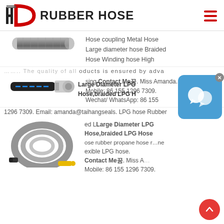HD RUBBER HOSE
[Figure (photo): Gray braided rubber hose product photo]
Hose coupling Metal Hose Large diameter hose Braided Hose Winding hose High...
...products is ensured by advanced testing equipment. Inexpensive
[Figure (photo): Black hose with blue dashed stripe and metal coupling]
Contact Me꿈. Miss Amanda. Mobile: 86 155 1296 7309. Wechat/ WhatsApp: 86 155 1296 7309. Email: amanda@taihangseals. LPG hose Rubber
Large Diameter LPG Hose,braided LPG Hose
[Figure (photo): Gray coiled rubber hose with yellow and black fittings]
ed L Large Diameter LPG Hose,braided LPG Hose ose rubber propane hose... exible LPG hose. Contact Me꿈. Miss A...
Mobile: 86 155 1296 7309.